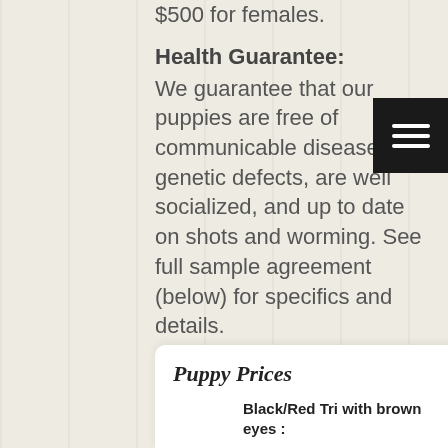$500 for females.
Health Guarantee:
We guarantee that our puppies are free of communicable diseases, genetic defects, are well socialized, and up to date on shots and worming. See full sample agreement (below) for specifics and details.
Puppy Prices: The price of each puppy is not finalized until their eye color is known which about 3-4 weeks of age.
Puppy Prices
Black/Red Tri with brown eyes :